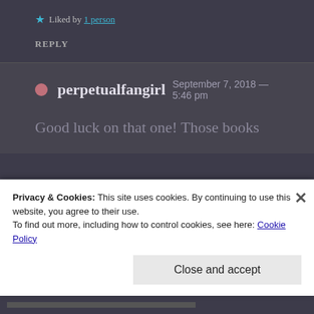★ Liked by 1 person
REPLY
perpetualfangirl September 7, 2018 — 5:46 pm
Good luck on that one! Those books
Privacy & Cookies: This site uses cookies. By continuing to use this website, you agree to their use.
To find out more, including how to control cookies, see here: Cookie Policy
Close and accept